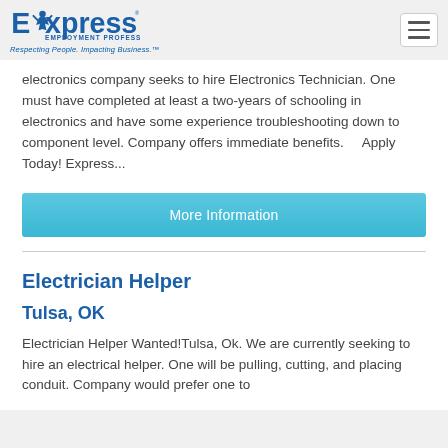[Figure (logo): Express Employment Professionals logo with tagline 'Respecting People. Impacting Business.']
electronics company seeks to hire Electronics Technician. One must have completed at least a two-years of schooling in electronics and have some experience troubleshooting down to component level. Company offers immediate benefits.     Apply Today! Express...
More Information
Electrician Helper
Tulsa, OK
Electrician Helper Wanted!Tulsa, Ok. We are currently seeking to hire an electrical helper. One will be pulling, cutting, and placing conduit. Company would prefer one to